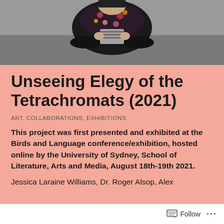[Figure (photo): Person sitting outdoors, wearing a floral shirt and black pants, holding or reading something, photographed from above on a textured surface.]
Unseeing Elegy of the Tetrachromats (2021)
ART, COLLABORATIONS, EXHIBITIONS
This project was first presented and exhibited at the Birds and Language conference/exhibition, hosted online by the University of Sydney, School of Literature, Arts and Media, August 18th-19th 2021.
Jessica Laraine Williams, Dr. Roger Alsop, Alex
Follow ...